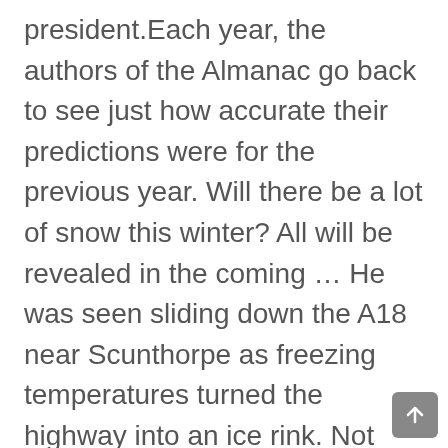president.Each year, the authors of the Almanac go back to see just how accurate their predictions were for the previous year. Will there be a lot of snow this winter? All will be revealed in the coming … He was seen sliding down the A18 near Scunthorpe as freezing temperatures turned the highway into an ice rink. Not only did 2020 see the coronavirus pandemic affect people in every corner of the globe, including an isolated station in Antarctica, but the year was chockfull of political upheaval, civil unrest and natural disasters. Learn how the Farmers' Almanac makes its predictions. Short and medium range local weather forecasts are selected by using the Place or postcode selector at the top of this page. NOAA's Climate Prediction Center has released weather maps that